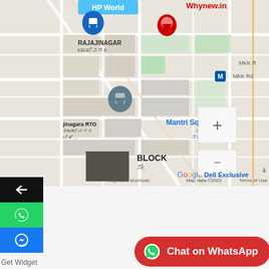[Figure (screenshot): Google Maps screenshot showing Rajajinagar area in Bengaluru, India, with a red pin marker labeled Whynew.in, map controls (+ and - zoom buttons), and labels including Mantri Square Mall, Rajajinagar RTO, HP World, MKK Rd, BLOCK, Google logo, Keyboard shortcuts, Map data ©2022, Terms of Use]
Get Widget
Copyright © 2019-2021, WhyNew. All rights reserved.
[Figure (infographic): Social media icons row: Facebook (f), Twitter (bird), Pinterest (P), Tumblr (t)]
[Figure (infographic): Red rounded button with WhatsApp icon: Chat on WhatsApp]